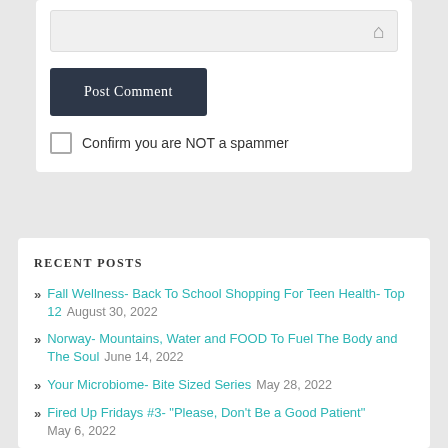[Figure (screenshot): A URL/address bar input field with a home icon on the right side, rendered in light gray background.]
Post Comment
Confirm you are NOT a spammer
RECENT POSTS
Fall Wellness- Back To School Shopping For Teen Health- Top 12  August 30, 2022
Norway- Mountains, Water and FOOD To Fuel The Body and The Soul  June 14, 2022
Your Microbiome- Bite Sized Series  May 28, 2022
Fired Up Fridays #3- "Please, Don't Be a Good Patient"  May 6, 2022